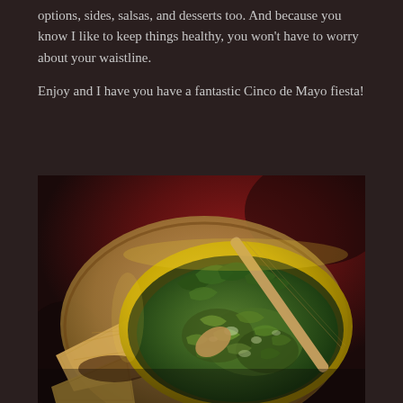options, sides, salsas, and desserts too. And because you know I like to keep things healthy, you won't have to worry about your waistline.
Enjoy and I have you have a fantastic Cinco de Mayo fiesta!
[Figure (photo): Overhead photo of a yellow bowl filled with green herb salsa/salsa verde with a wooden spoon, accompanied by tortilla chips on a wooden plate, set against a dark red background.]